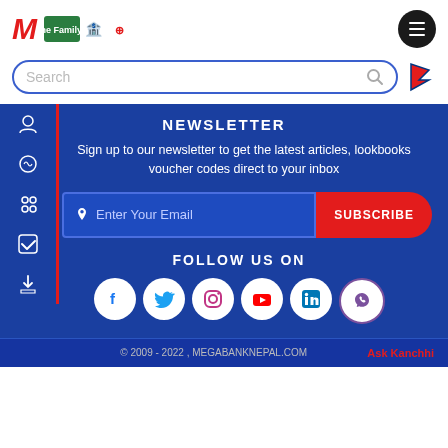[Figure (logo): Mega Bank Nepal logo with M letter and bank branding icons at top, plus hamburger menu button]
Search
[Figure (infographic): Nepal flag icon]
NEWSLETTER
Sign up to our newsletter to get the latest articles, lookbooks voucher codes direct to your inbox
Enter Your Email
SUBSCRIBE
FOLLOW US ON
[Figure (infographic): Social media icons row: Facebook, Twitter, Instagram, YouTube, LinkedIn, Viber]
© 2009 - 2022 , MEGABANKNEPAL.COM
Ask Kanchhi